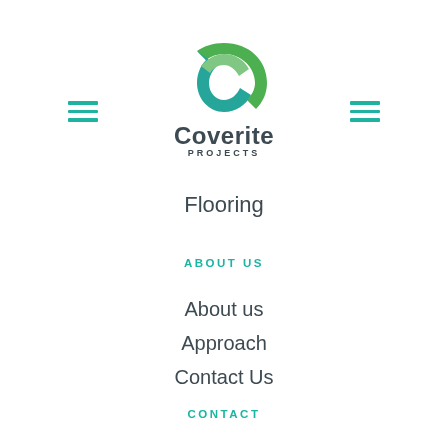[Figure (logo): Coverite Projects logo with green and teal C-shaped swoosh and company name]
[Figure (other): Hamburger menu icon on the left side]
[Figure (other): Hamburger menu icon on the right side]
Flooring
ABOUT US
About us
Approach
Contact Us
CONTACT